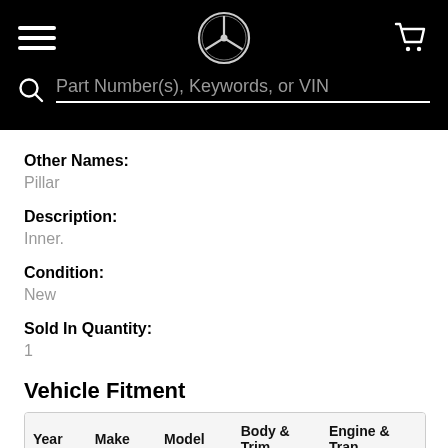[Figure (screenshot): Mercedes-Benz website header with hamburger menu, Mercedes-Benz star logo, and shopping cart icon on black background, with search bar below showing 'Part Number(s), Keywords, or VIN' placeholder text]
Other Names:
Pillar
Description:
Inner.
Condition:
New
Sold In Quantity:
1
Vehicle Fitment
| Year | Make | Model | Body & Trim | Engine & Transmission |
| --- | --- | --- | --- | --- |